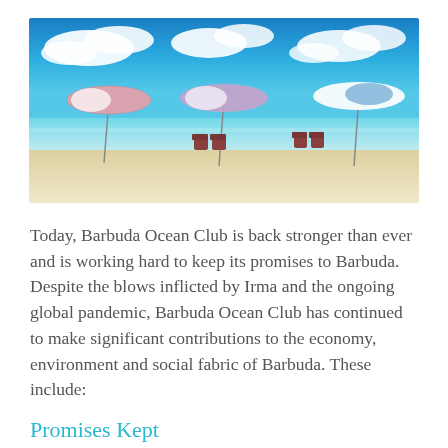[Figure (photo): Beach scene with colorful umbrellas (pink, white, blue) and lounge chairs on white sand, with turquoise ocean and blue sky with clouds in the background.]
Today, Barbuda Ocean Club is back stronger than ever and is working hard to keep its promises to Barbuda. Despite the blows inflicted by Irma and the ongoing global pandemic, Barbuda Ocean Club has continued to make significant contributions to the economy, environment and social fabric of Barbuda. These include:
Promises Kept
[Figure (photo): Partial view of a building or structure, cropped at bottom of page.]